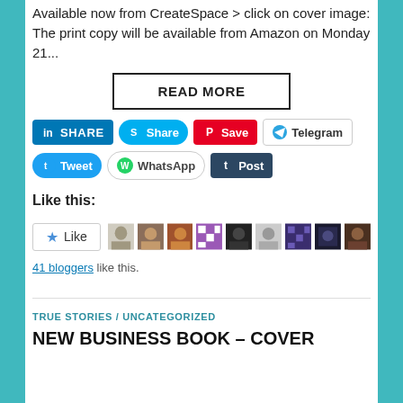Available now from CreateSpace > click on cover image: The print copy will be available from Amazon on Monday 21...
READ MORE
[Figure (infographic): Social sharing buttons: LinkedIn SHARE, Skype Share, Pinterest Save, Telegram, Tweet, WhatsApp, Tumblr Post]
Like this:
[Figure (infographic): Like button and 9 blogger avatar thumbnails]
41 bloggers like this.
TRUE STORIES / UNCATEGORIZED
NEW BUSINESS BOOK – COVER